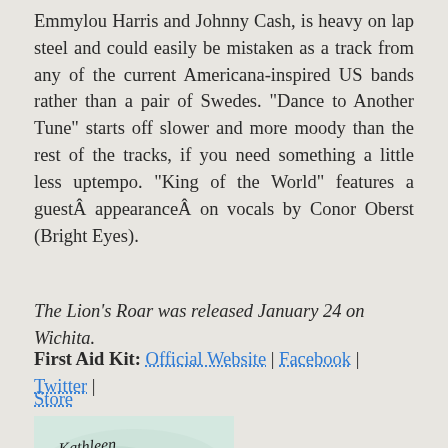Emmylou Harris and Johnny Cash, is heavy on lap steel and could easily be mistaken as a track from any of the current Americana-inspired US bands rather than a pair of Swedes. "Dance to Another Tune" starts off slower and more moody than the rest of the tracks, if you need something a little less uptempo. "King of the World" features a guestÂ appearanceÂ on vocals by Conor Oberst (Bright Eyes).
The Lion’s Roar was released January 24 on Wichita.
First Aid Kit: Official Website | Facebook | Twitter | Store
[Figure (illustration): A small image showing a handwritten signature reading 'Kathleen Elworth' with decorative script below reading 'Voyageur', with floral/nature illustration elements.]